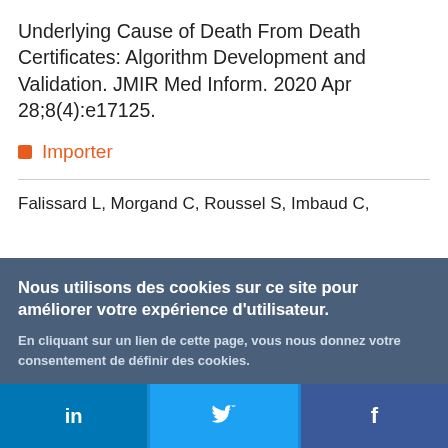Underlying Cause of Death From Death Certificates: Algorithm Development and Validation. JMIR Med Inform. 2020 Apr 28;8(4):e17125.
Importer
Falissard L, Morgand C, Roussel S, Imbaud C,
Nous utilisons des cookies sur ce site pour améliorer votre expérience d'utilisateur. En cliquant sur un lien de cette page, vous nous donnez votre consentement de définir des cookies.
Oui, je suis d'accord | Plus d'infos